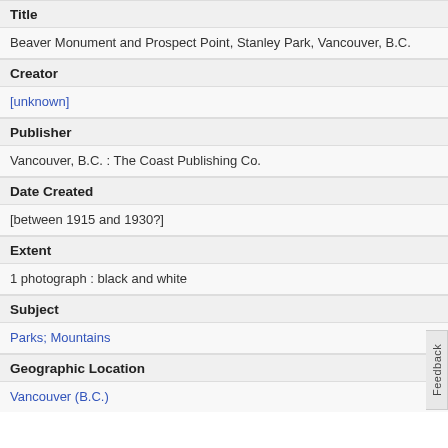Title
Beaver Monument and Prospect Point, Stanley Park, Vancouver, B.C.
Creator
[unknown]
Publisher
Vancouver, B.C. : The Coast Publishing Co.
Date Created
[between 1915 and 1930?]
Extent
1 photograph : black and white
Subject
Parks; Mountains
Geographic Location
Vancouver (B.C.)